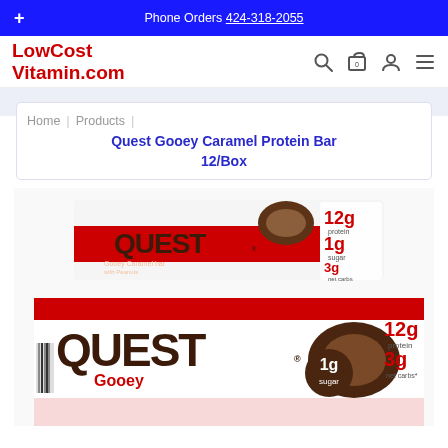Phone Orders 424-318-2055
[Figure (logo): LowCostVitamin.com red bold logo with navigation icons (search, cart, account, menu)]
Home | Products | Quest Gooey Caramel Protein Bar 12/Box
[Figure (photo): Quest Gooey Caramel Protein Bar boxes showing QUEST branding, 12g protein, 1g sugar, 3g net carbs labels]